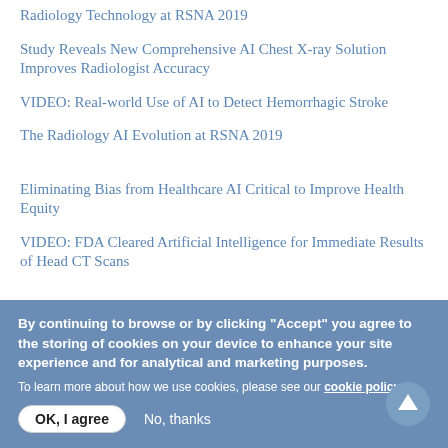Radiology Technology at RSNA 2019
Study Reveals New Comprehensive AI Chest X-ray Solution Improves Radiologist Accuracy
VIDEO: Real-world Use of AI to Detect Hemorrhagic Stroke
The Radiology AI Evolution at RSNA 2019
Eliminating Bias from Healthcare AI Critical to Improve Health Equity
VIDEO: FDA Cleared Artificial Intelligence for Immediate Results of Head CT Scans
By continuing to browse or by clicking “Accept” you agree to the storing of cookies on your device to enhance your site experience and for analytical and marketing purposes.
To learn more about how we use cookies, please see our cookie policy.
OK, I agree  No, thanks